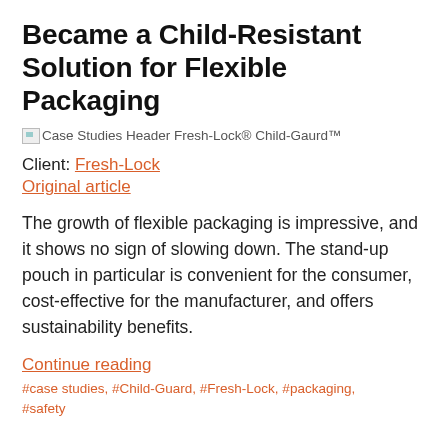Became a Child-Resistant Solution for Flexible Packaging
[Figure (illustration): Broken image placeholder for Case Studies Header Fresh-Lock® Child-Gaurd™]
Client: Fresh-Lock
Original article
The growth of flexible packaging is impressive, and it shows no sign of slowing down. The stand-up pouch in particular is convenient for the consumer, cost-effective for the manufacturer, and offers sustainability benefits.
Continue reading
#case studies, #Child-Guard, #Fresh-Lock, #packaging, #safety